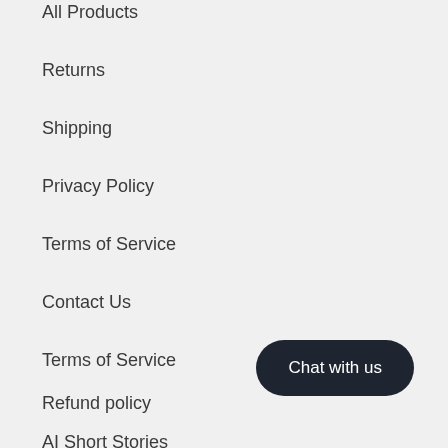All Products
Returns
Shipping
Privacy Policy
Terms of Service
Contact Us
Terms of Service
Refund policy
AI Short Stories
Chat with us